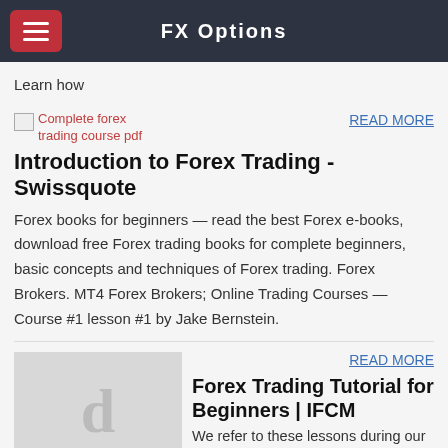FX Options
Learn how
[Figure (illustration): Broken image placeholder with alt text 'Complete forex trading course pdf' in red]
READ MORE
Introduction to Forex Trading - Swissquote
Forex books for beginners — read the best Forex e-books, download free Forex trading books for complete beginners, basic concepts and techniques of Forex trading. Forex Brokers. MT4 Forex Brokers; Online Trading Courses — Course #1 lesson #1 by Jake Bernstein.
[Figure (illustration): Gray square placeholder image with the letter 'd' in light gray]
READ MORE
Forex Trading Tutorial for Beginners | IFCM
We refer to these lessons during our